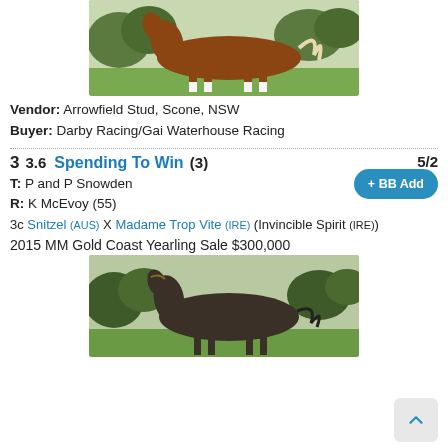[Figure (photo): Chestnut horse with white leg markings standing in a paddock with green grass and trees in background, photographed from the side]
Vendor: Arrowfield Stud, Scone, NSW
Buyer: Darby Racing/Gai Waterhouse Racing
3  3.6  Spending To Win (3)  5/2
T: P and P Snowden
R: K McEvoy (55)
3c Snitzel (AUS) X Madame Trop Vite (IRE) (Invincible Spirit (IRE))
2015 MM Gold Coast Yearling Sale $300,000
[Figure (photo): Dark bay/grey horse standing on grass with trees in background, photographed from the side]